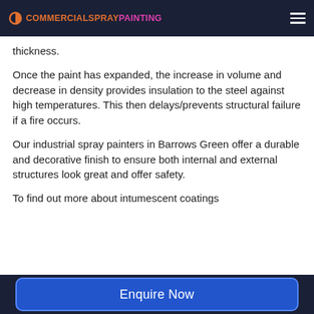COMMERCIALSPRAYPAINTING
thickness.
Once the paint has expanded, the increase in volume and decrease in density provides insulation to the steel against high temperatures. This then delays/prevents structural failure if a fire occurs.
Our industrial spray painters in Barrows Green offer a durable and decorative finish to ensure both internal and external structures look great and offer safety.
To find out more about intumescent coatings
Enquire Now